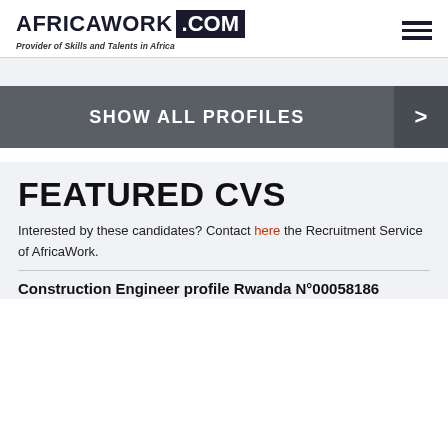AFRICAWORK .COM — Provider of Skills and Talents in Africa
[Figure (logo): AfricaWork.com logo with hamburger menu icon]
SHOW ALL PROFILES >
FEATURED CVS
Interested by these candidates? Contact here the Recruitment Service of AfricaWork.
Construction Engineer profile Rwanda N°00058186